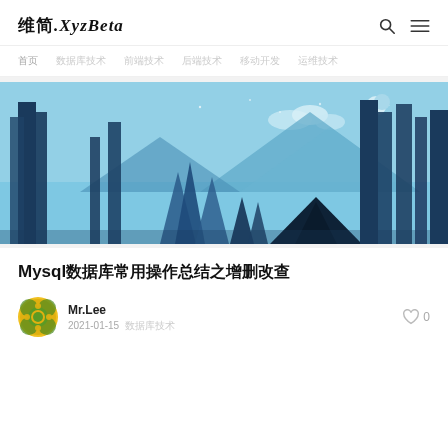维简.XyzBeta
首页  数据库技术  前端技术  后端技术  移动开发  运维技术
[Figure (illustration): Night forest camping illustration: blue-toned stylized forest with tall dark pine trees, mountains in background, crescent moon and clouds in sky, dark tent in center foreground]
Mysql数据库常用操作总结之增删改查
Mr.Lee
2021-01-15  数据库技术